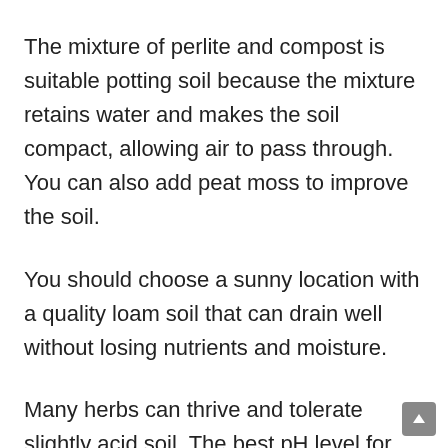The mixture of perlite and compost is suitable potting soil because the mixture retains water and makes the soil compact, allowing air to pass through. You can also add peat moss to improve the soil.
You should choose a sunny location with a quality loam soil that can drain well without losing nutrients and moisture.
Many herbs can thrive and tolerate slightly acid soil. The best pH level for growing most types of herbs is neutral to alkaline or pH